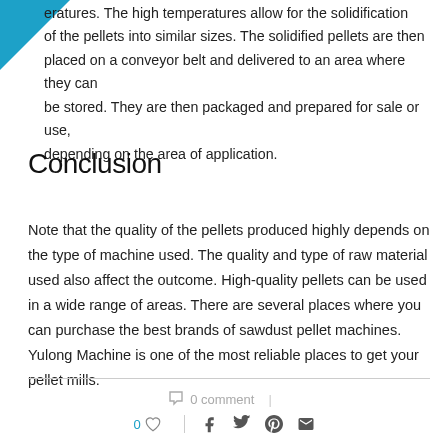eratures. The high temperatures allow for the solidification of the pellets into similar sizes. The solidified pellets are then placed on a conveyor belt and delivered to an area where they can be stored. They are then packaged and prepared for sale or use, depending on the area of application.
Conclusion
Note that the quality of the pellets produced highly depends on the type of machine used. The quality and type of raw material used also affect the outcome. High-quality pellets can be used in a wide range of areas. There are several places where you can purchase the best brands of sawdust pellet machines. Yulong Machine is one of the most reliable places to get your pellet mills.
0 comment | 0 ♡ | f t ⊕ ✉